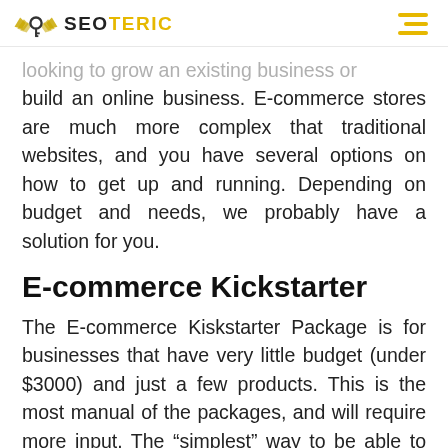SEOTERIC
looking to grow an existing business or build an online business. E-commerce stores are much more complex that traditional websites, and you have several options on how to get up and running. Depending on budget and needs, we probably have a solution for you.
E-commerce Kickstarter
The E-commerce Kiskstarter Package is for businesses that have very little budget (under $3000) and just a few products. This is the most manual of the packages, and will require more input. The “simplest” way to be able to sell online is to sign up